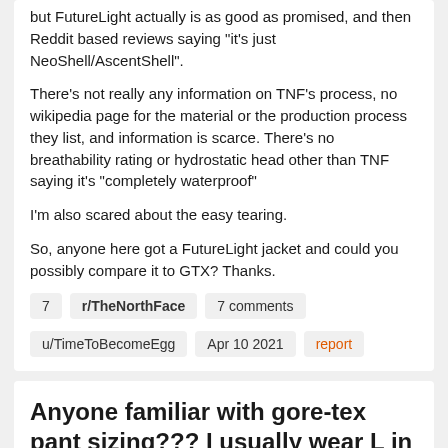but FutureLight actually is as good as promised, and then Reddit based reviews saying "it's just NeoShell/AscentShell".
There's not really any information on TNF's process, no wikipedia page for the material or the production process they list, and information is scarce. There's no breathability rating or hydrostatic head other than TNF saying it's "completely waterproof"
I'm also scared about the easy tearing.
So, anyone here got a FutureLight jacket and could you possibly compare it to GTX? Thanks.
7    r/TheNorthFace    7 comments
u/TimeToBecomeEgg    Apr 10 2021    report
Anyone familiar with gore-tex pant sizing??? I usually wear L in pants.
[Figure (photo): Partial image of dark pants/trousers at the bottom of the page.]